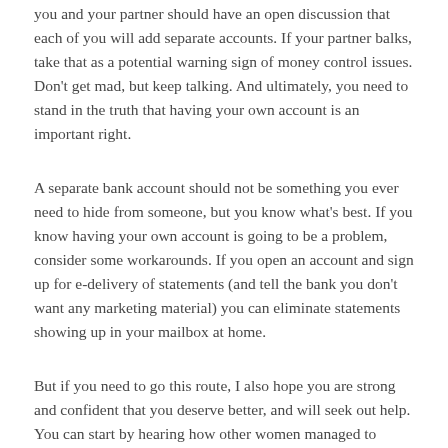you and your partner should have an open discussion that each of you will add separate accounts. If your partner balks, take that as a potential warning sign of money control issues. Don't get mad, but keep talking. And ultimately, you need to stand in the truth that having your own account is an important right.
A separate bank account should not be something you ever need to hide from someone, but you know what's best. If you know having your own account is going to be a problem, consider some workarounds. If you open an account and sign up for e-delivery of statements (and tell the bank you don't want any marketing material) you can eliminate statements showing up in your mailbox at home.
But if you need to go this route, I also hope you are strong and confident that you deserve better, and will seek out help. You can start by hearing how other women managed to move forward in a series of conversations I conducted with The National Domestic Violence Hotline.
And for those of you in a great marriage, with joint and separate accounts, I have a question for you: Do you also have your own IRA account that you are contributing to each year?